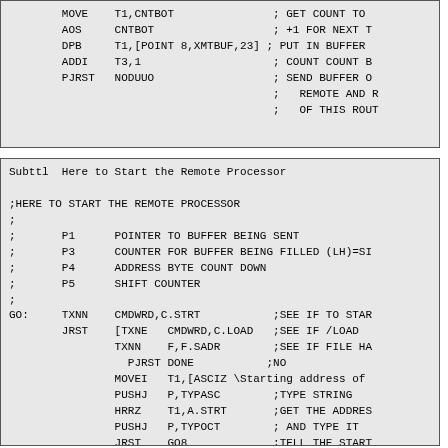MOVE T1,CNTBOT ; GET COUNT TO
 AOS CNTBOT ; +1 FOR NEXT T
 DPB T1,[POINT 8,XMTBUF,23] ; PUT IN BUFFER
 ADDI T3,1 ; COUNT COUNT B
 PJRST NODUUO ; SEND BUFFER O
 ; REMOTE AND R
 ; OF THIS ROUT
Subttl  Here to Start the Remote Processor

;HERE TO START THE REMOTE PROCESSOR
;
;       P1      POINTER TO BUFFER BEING SENT
;       P3      COUNTER FOR BUFFER BEING FILLED (LH)=SI
;       P4      ADDRESS BYTE COUNT DOWN
;       P5      SHIFT COUNTER
;
GO:     TXNN    CMDWRD,C.STRT           ;SEE IF TO STAR
        JRST    [TXNE   CMDWRD,C.LOAD   ;SEE IF /LOAD
                TXNN    F,F.SADR        ;SEE IF FILE HA
                  PJRST DONE           ;NO
                MOVEI   T1,[ASCIZ \Starting address of
                PUSHJ   P,TYPASC        ;TYPE STRING
                HRRZ    T1,A.STRT       ;GET THE ADDRES
                PUSHJ   P,TYPOCT        ; AND TYPE IT
                JRST    GO8             ;TELL THE START
               ]
GO2:    HLLZ    P3,BYTTAB(CPU)          ;BUFFER LENGTH
        MOVE    P1,[POINT 8,XMTBUF,15] ;WHERE TO PUT